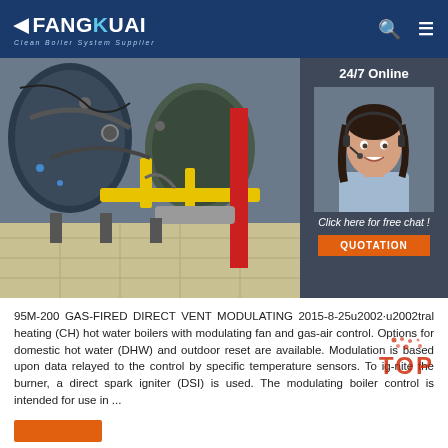FANGKUAI Clean Boiler System Supplier
[Figure (photo): Industrial gas-fired boiler machinery with yellow gas pipes, valves, and mechanical components in an industrial setting]
[Figure (photo): 24/7 Online customer service agent (woman with headset, smiling) with 'Click here for free chat!' text and QUOTATION button]
95M-200 GAS-FIRED DIRECT VENT MODULATING 2015-8-25u2002·u2002tral heating (CH) hot water boilers with modulating fan and gas-air control. Options for domestic hot water (DHW) and outdoor reset are available. Modulation is based upon data relayed to the control by specific temperature sensors. To ig-nite the burner, a direct spark igniter (DSI) is used. The modulating boiler control is intended for use in ...